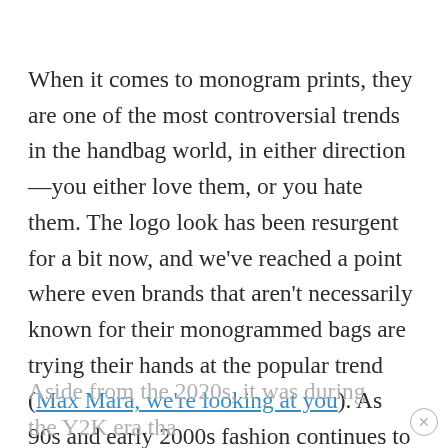When it comes to monogram prints, they are one of the most controversial trends in the handbag world, in either direction—you either love them, or you hate them. The logo look has been resurgent for a bit now, and we've reached a point where even brands that aren't necessarily known for their monogrammed bags are trying their hands at the popular trend (Max Mara, we're looking at you). As 90s and early 2000s fashion continues to be a trend, it's no surprise that Monograms reign supreme.
Aside from the 2020s, it was during the Y2K era tha...